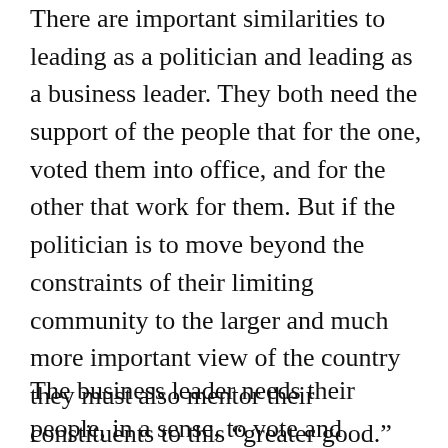There are important similarities to leading as a politician and leading as a business leader. They both need the support of the people that for the one, voted them into office, and for the other that work for them. But if the politician is to move beyond the constraints of their limiting community to the larger and much more important view of the country they must also mentor their constituents to this “greater good.” This is never easy, but essential if democracy is to work. The alternative is bound to fracture any democratic country into hundreds of isolated and weakened camps. (Think Balkanization?)
The business leader needs their people, in a sense, to vote and support them also, but this